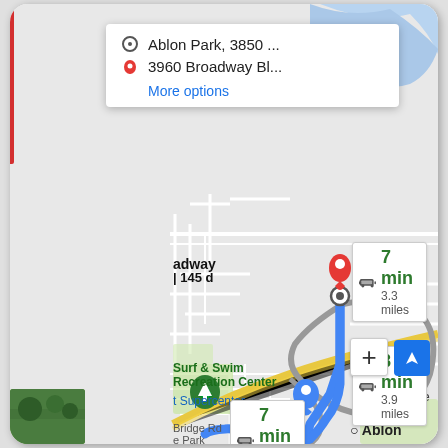[Figure (map): Google Maps screenshot showing driving directions between Ablon Park (3850...) and 3960 Broadway Bl... with three route options: 7 min / 3.3 miles (highlighted in blue), 8 min / 3.9 miles, and 7 min / 3.5 miles. The map shows Rose Hill neighborhood, Surf & Swim Recreation Center, Ablon label, and various roads. Route shown as blue highlighted path.]
Ablon Park, 3850 ...
3960 Broadway Bl...
More options
7 min
3.3 miles
8 min
3.9 miles
7 min
3.5 miles